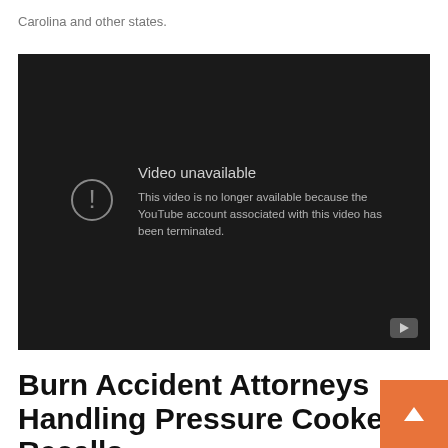Carolina and other states.
[Figure (screenshot): Embedded YouTube video player showing 'Video unavailable' message: 'This video is no longer available because the YouTube account associated with this video has been terminated.']
Burn Accident Attorneys Handling Pressure Cooker Recalls